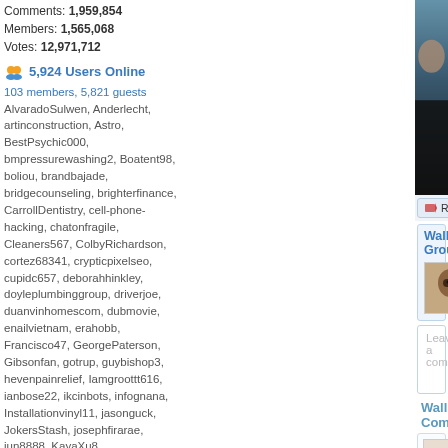Comments: 1,959,854
Members: 1,565,068
Votes: 12,971,712
5,924 Users Online
103 members, 5,821 guests
AlvaradoSulwen, Anderlecht, artinconstruction, Astro, BestPsychic000, bmpressurewashing2, Boatent98, boliou, brandbajade, bridgecounseling, brighterfinance, CarrollDentistry, cell-phone-hacking, chatonfragile, Cleaners567, ColbyRichardson, cortez68341, crypticpixelseo, cupidc657, deborahhinkley, doyleplumbinggroup, driverjoe, duanvinhomescom, dubmovie, enailvietnam, erahobb, Francisco47, GeorgePaterson, Gibsonfan, gotrup, guybishop3, hevenpainrelief, Iamgroottt616, ianbose22, ikcinbots, infognana, Installationvinyl11, jasonguck, JokersStash, josephfirarae, jun8888, KayaXu8, khungnhomkinhvietphon..., kinggohan, Lalina, Lamamake, leonbetappin, lertuiosq, lilla811, lirikmerch, maayash, macthanhvu, marquisbarkley, mayapatil281995, McKinneysTX, mikepaxson, missshweta, mistydaydream1, mod.CG, modzoro, mumtazdental, now888today, phaenic777
[Figure (photo): Close-up photo of a person, partially cropped, dark background]
Report This Wallpaper
Add To F
Wallpaper Groups
[Figure (photo): Thumbnail of close-up eye/face for Gorgeous Faces wallpaper group]
Gorgeous Faces
10,723  234  0
Leave a comment...
Wallpaper Comments (1)
[Figure (photo): Thumbnail image labeled Brown eyed girl]
Posted by Alexandra66 on 05/31/16 at 0
Sweet!~